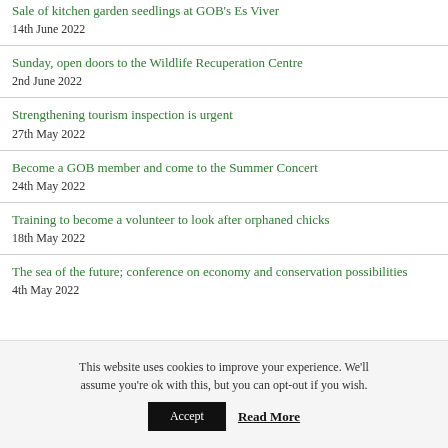Sale of kitchen garden seedlings at GOB's Es Viver
14th June 2022
Sunday, open doors to the Wildlife Recuperation Centre
2nd June 2022
Strengthening tourism inspection is urgent
27th May 2022
Become a GOB member and come to the Summer Concert
24th May 2022
Training to become a volunteer to look after orphaned chicks
18th May 2022
The sea of the future; conference on economy and conservation possibilities
4th May 2022
This website uses cookies to improve your experience. We'll assume you're ok with this, but you can opt-out if you wish.
Accept   Read More